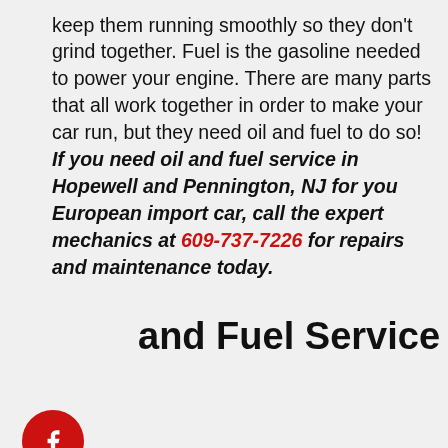keep them running smoothly so they don't grind together. Fuel is the gasoline needed to power your engine. There are many parts that all work together in order to make your car run, but they need oil and fuel to do so! If you need oil and fuel service in Hopewell and Pennington, NJ for you European import car, call the expert mechanics at 609-737-7226 for repairs and maintenance today.
[Figure (logo): Facebook social share button - red circle with white f icon]
[Figure (logo): Twitter social share button - red circle with white bird icon]
and Fuel Service
[Figure (logo): Google Plus social share button - red circle with white G+ icon]
u have invested in a European import car, you are probably doing the best you can to keep it in pristine condition. The easiest way you can do that is by regulating and checking your vehicle's oil and fuel levels. If you don't, engine failure occurs which can cost almost as much as a new car. Something as simple and affordable as buying more oil or fuel